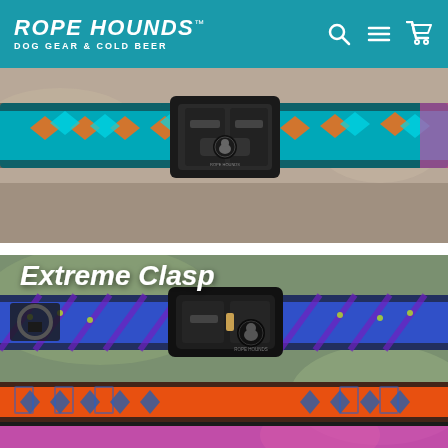ROPE HOUNDS™ DOG GEAR & COLD BEER
[Figure (photo): Close-up of a colorful braided dog collar with teal, orange and black pattern, featuring a black Rope Hounds branded buckle clasp, resting on a stone surface.]
[Figure (photo): Close-up of multiple stacked colorful braided dog collars — blue/purple/yellow pattern on top with a black Rope Hounds branded extreme clasp buckle, orange/blue geometric pattern at bottom. Text overlay reads 'Extreme Clasp' in white bold italic.]